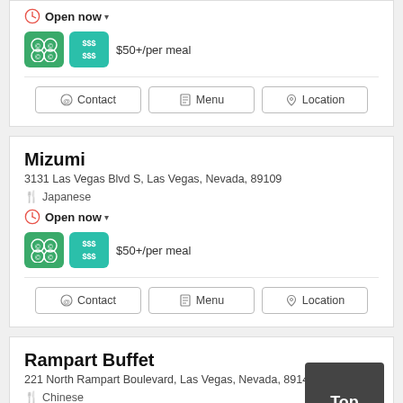Open now
$50+/per meal
Contact | Menu | Location
Mizumi
3131 Las Vegas Blvd S, Las Vegas, Nevada, 89109
Japanese
Open now
$50+/per meal
Contact | Menu | Location
Rampart Buffet
221 North Rampart Boulevard, Las Vegas, Nevada, 89145
Chinese
Closed